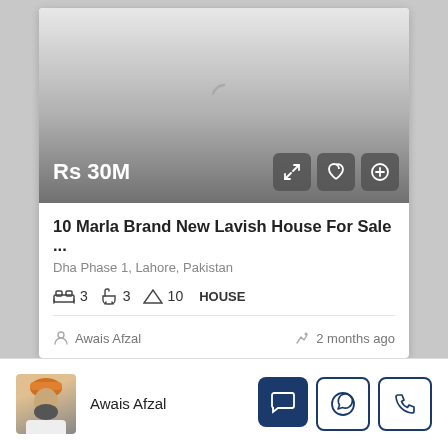[Figure (screenshot): Property listing card showing a loading image with gradient background]
Rs 30M
10 Marla Brand New Lavish House For Sale ...
Dha Phase 1, Lahore, Pakistan
3  3  10  HOUSE
Awais Afzal
2 months ago
Awais Afzal